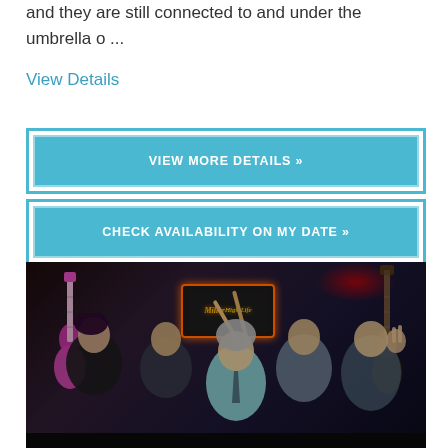and they are still connected to and under the umbrella o ...
View Details
VIEW MORE DETAILS »
CHECK AVAILABILITY ON MY DATE »
[Figure (photo): Group photo of a band with musicians holding guitars and drumsticks in a bar/venue setting with a Miller High Life neon sign in the background and red lighting.]